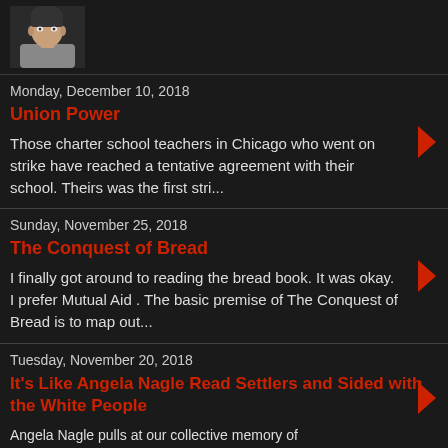[Figure (photo): Small square headshot photo of a young man with dark hair, wearing a light-colored shirt, against a dark background.]
Monday, December 10, 2018
Union Power
Those charter school teachers in Chicago who went on strike have reached a tentative agreement with their school. Theirs was the first stri...
Sunday, November 25, 2018
The Conquest of Bread
I finally got around to reading the bread book. It was okay. I prefer Mutual Aid . The basic premise of The Conquest of Bread is to map out...
Tuesday, November 20, 2018
It's Like Angela Nagle Read Settlers and Sided with the White People
Angela Nagle pulls at our collective memory of